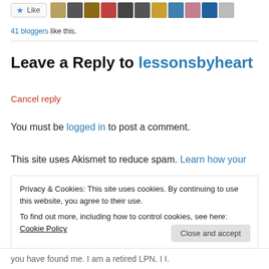[Figure (other): Like button with star icon and a row of 11 blogger avatar thumbnails]
41 bloggers like this.
Leave a Reply to lessonsbyheart
Cancel reply
You must be logged in to post a comment.
This site uses Akismet to reduce spam. Learn how your
Privacy & Cookies: This site uses cookies. By continuing to use this website, you agree to their use.
To find out more, including how to control cookies, see here: Cookie Policy
Close and accept
you have found me. I am a retired LPN. I I.